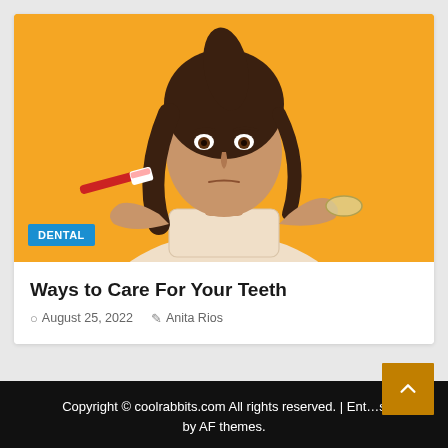[Figure (photo): Young woman with dark hair in a ponytail, wearing a cream turtleneck sweater, holding a red toothbrush and dental retainer/aligner against a bright yellow/orange background. She has a thoughtful or uncertain expression.]
DENTAL
Ways to Care For Your Teeth
August 25, 2022   Anita Rios
Copyright © coolrabbits.com All rights reserved. | Ent... s by AF themes.